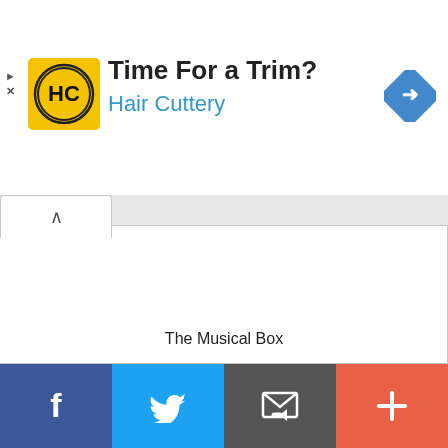[Figure (screenshot): Hair Cuttery advertisement banner with yellow logo showing HC initials, text 'Time For a Trim?' and 'Hair Cuttery' in blue, navigation diamond icon on right]
The Musical Box
[Figure (screenshot): Bottom social sharing toolbar with Facebook (blue), Twitter (light blue), Email (dark gray), and More/Plus (coral red) buttons]